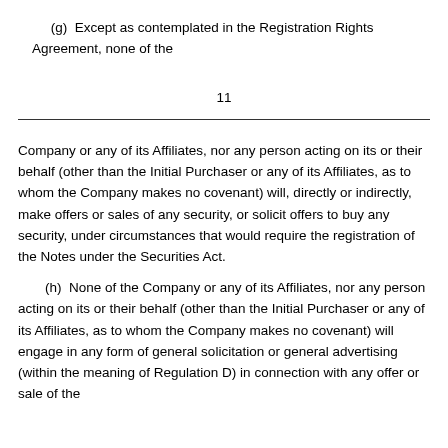(g)  Except as contemplated in the Registration Rights Agreement, none of the
11
Company or any of its Affiliates, nor any person acting on its or their behalf (other than the Initial Purchaser or any of its Affiliates, as to whom the Company makes no covenant) will, directly or indirectly, make offers or sales of any security, or solicit offers to buy any security, under circumstances that would require the registration of the Notes under the Securities Act.
(h)  None of the Company or any of its Affiliates, nor any person acting on its or their behalf (other than the Initial Purchaser or any of its Affiliates, as to whom the Company makes no covenant) will engage in any form of general solicitation or general advertising (within the meaning of Regulation D) in connection with any offer or sale of the